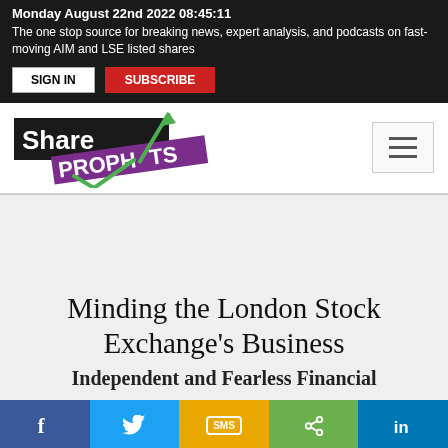Monday August 22nd 2022 08:45:11
The one stop source for breaking news, expert analysis, and podcasts on fast-moving AIM and LSE listed shares
[Figure (logo): ShareProphets logo with black background 'Share' text and purple 'PROPHETS' banner with green arrow and checkmark]
Minding the London Stock Exchange's Business
Independent and Fearless Financial
[Figure (infographic): Social sharing bar with Facebook, Twitter, SMS, Share, and LinkedIn buttons]